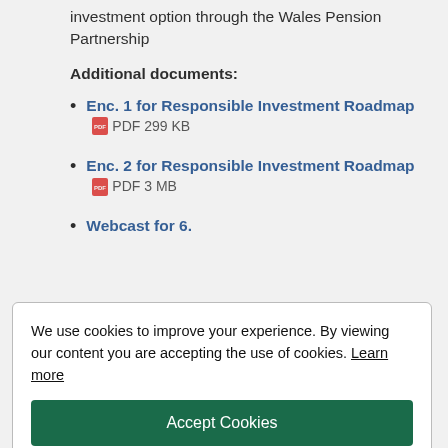investment option through the Wales Pension Partnership
Additional documents:
Enc. 1 for Responsible Investment Roadmap  PDF 299 KB
Enc. 2 for Responsible Investment Roadmap  PDF 3 MB
Webcast for 6.
We use cookies to improve your experience. By viewing our content you are accepting the use of cookies. Learn more
Accept Cookies
zero work plan or roadmap as detailed in